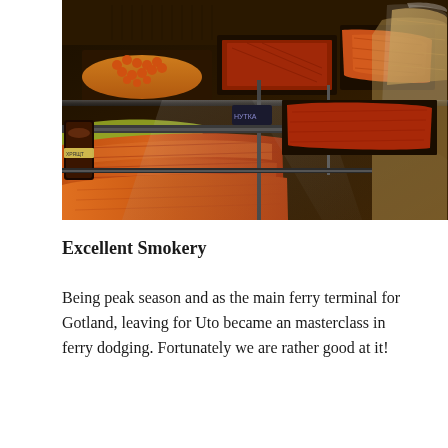[Figure (photo): A display case at a smokery showing various smoked fish products including large sides of smoked salmon and other smoked items arranged in trays behind glass. The scene is lit with warm amber tones. A small black hat-like label and a bag of bread are visible on the right side.]
Excellent Smokery
Being peak season and as the main ferry terminal for Gotland, leaving for Uto became an masterclass in ferry dodging. Fortunately we are rather good at it!